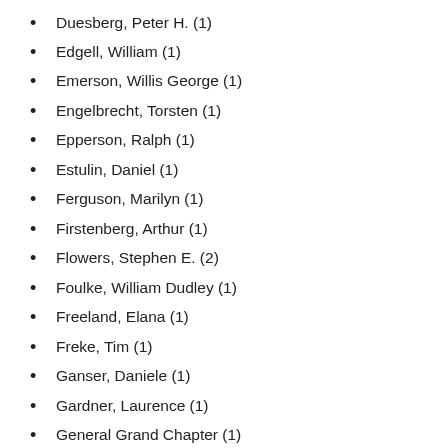Duesberg, Peter H. (1)
Edgell, William (1)
Emerson, Willis George (1)
Engelbrecht, Torsten (1)
Epperson, Ralph (1)
Estulin, Daniel (1)
Ferguson, Marilyn (1)
Firstenberg, Arthur (1)
Flowers, Stephen E. (2)
Foulke, William Dudley (1)
Freeland, Elana (1)
Freke, Tim (1)
Ganser, Daniele (1)
Gardner, Laurence (1)
General Grand Chapter (1)
Gest, Kevin L. (1)
Giannini, F. Amadeo (1)
Gleason, Alexander (1)